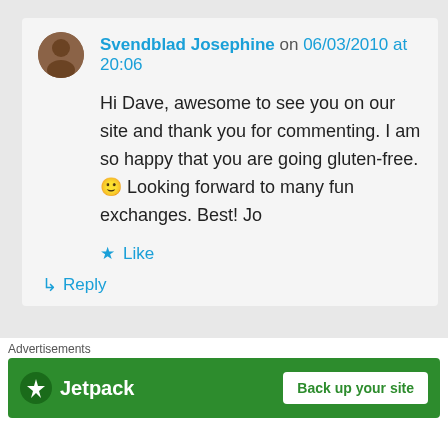Svendblad Josephine on 06/03/2010 at 20:06
Hi Dave, awesome to see you on our site and thank you for commenting. I am so happy that you are going gluten-free. 🙂 Looking forward to many fun exchanges. Best! Jo
★ Like
↳ Reply
Cg. on 03/16/2016 at 13:51
Advertisements
[Figure (logo): Jetpack logo with lightning bolt icon and 'Back up your site' button on green background]